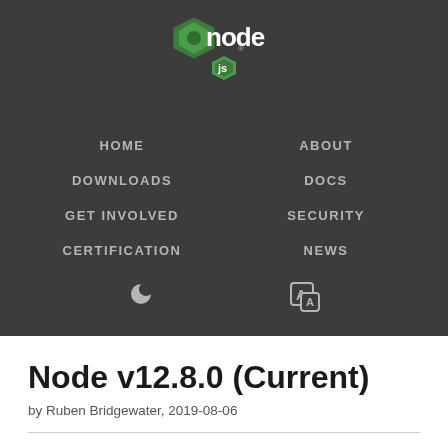[Figure (logo): Node.js logo with hexagonal badge and 'node' text in white/green, 'js' badge below]
HOME | DOWNLOADS | GET INVOLVED | CERTIFICATION | ABOUT | DOCS | SECURITY | NEWS
Node v12.8.0 (Current)
by Ruben Bridgewater, 2019-08-06
Notable changes